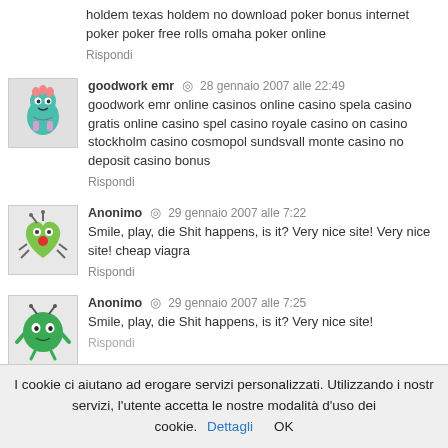holdem texas holdem no download poker bonus internet poker poker free rolls omaha poker online
Rispondi
goodwork emr ◎ 28 gennaio 2007 alle 22:49
goodwork emr online casinos online casino spela casino gratis online casino spel casino royale casino on casino stockholm casino cosmopol sundsvall monte casino no deposit casino bonus
Rispondi
Anonimo ◎ 29 gennaio 2007 alle 7:22
Smile, play, die Shit happens, is it? Very nice site! Very nice site! cheap viagra
Rispondi
Anonimo ◎ 29 gennaio 2007 alle 7:25
Smile, play, die Shit happens, is it? Very nice site!
Rispondi
I cookie ci aiutano ad erogare servizi personalizzati. Utilizzando i nostri servizi, l'utente accetta le nostre modalità d'uso dei cookie. Dettagli OK